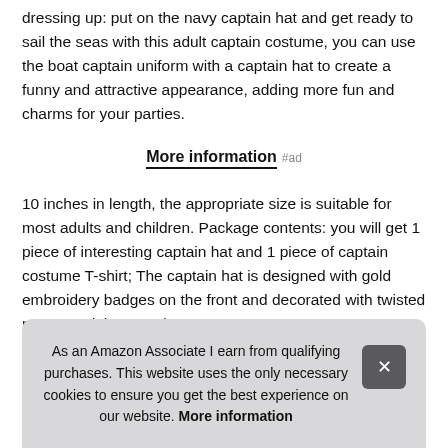dressing up: put on the navy captain hat and get ready to sail the seas with this adult captain costume, you can use the boat captain uniform with a captain hat to create a funny and attractive appearance, adding more fun and charms for your parties.
More information #ad
10 inches in length, the appropriate size is suitable for most adults and children. Package contents: you will get 1 piece of interesting captain hat and 1 piece of captain costume T-shirt; The captain hat is designed with gold embroidery badges on the front and decorated with twisted ropes, and the captain cos… 3D-p… delic…
Prop…
As an Amazon Associate I earn from qualifying purchases. This website uses the only necessary cookies to ensure you get the best experience on our website. More information